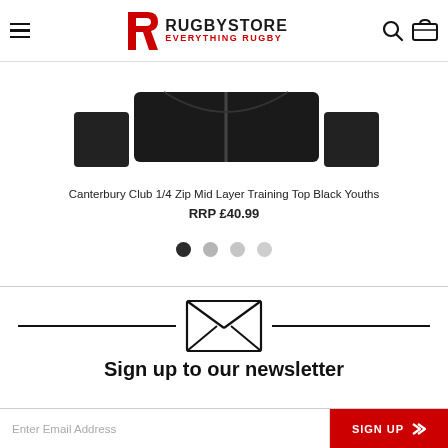RugbyStore - Everything Rugby
[Figure (photo): Partial product image of Canterbury Club 1/4 Zip Mid Layer Training Top Black Youths, showing the collar/zip area with black fabric]
Canterbury Club 1/4 Zip Mid Layer Training Top Black Youths
RRP £40.99
[Figure (other): Carousel navigation dots: four dots, first one dark (selected), others in progressively lighter grey]
[Figure (other): Newsletter signup section with envelope icon flanked by horizontal lines, heading 'Sign up to our newsletter', and email input field with red SIGN UP button]
Sign up to our newsletter
Enter Email Address
SIGN UP